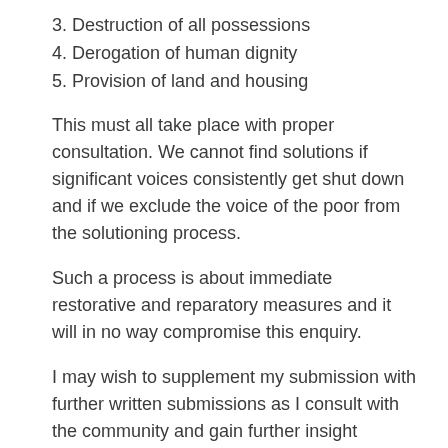3. Destruction of all possessions
4. Derogation of human dignity
5. Provision of land and housing
This must all take place with proper consultation. We cannot find solutions if significant voices consistently get shut down and if we exclude the voice of the poor from the solutioning process.
Such a process is about immediate restorative and reparatory measures and it will in no way compromise this enquiry.
I may wish to supplement my submission with further written submissions as I consult with the community and gain further insight
I also make mention of  that it appears that Ses’khona is being victimized and demonized on many levels. It appears those corageous enough to